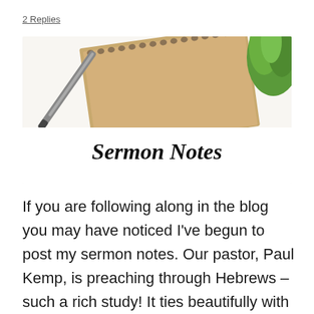2 Replies
[Figure (photo): A spiral-bound kraft paper notebook with a pen lying on top, and a green plant in the upper right corner. Text overlay reads 'Sermon Notes' in bold italic script.]
If you are following along in the blog you may have noticed I've begun to post my sermon notes. Our pastor, Paul Kemp, is preaching through Hebrews – such a rich study! It ties beautifully with my theology